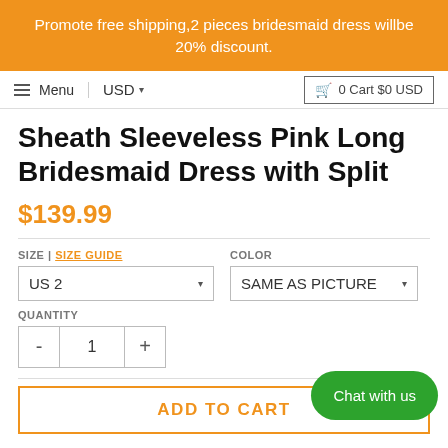Promote free shipping,2 pieces bridesmaid dress willbe 20% discount.
Menu | USD ▾  0 Cart $0 USD
Sheath Sleeveless Pink Long Bridesmaid Dress with Split
$139.99
SIZE | SIZE GUIDE
US 2
COLOR
SAME AS PICTURE
QUANTITY
- 1 +
Chat with us
ADD TO CART